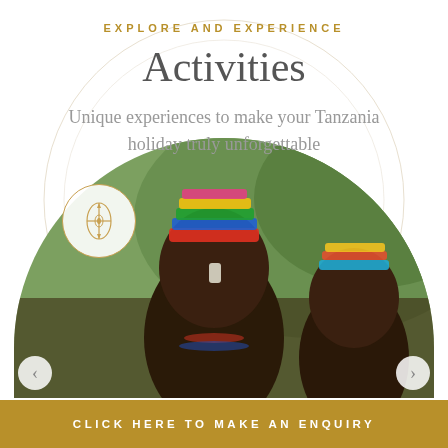EXPLORE AND EXPERIENCE
Activities
Unique experiences to make your Tanzania holiday truly unforgettable
[Figure (photo): Semicircular photo of Maasai people in colorful beaded headdresses with green hillside in background. A decorative icon with crossed arrows/spears in a circular border overlays the left side of the image.]
CLICK HERE TO MAKE AN ENQUIRY